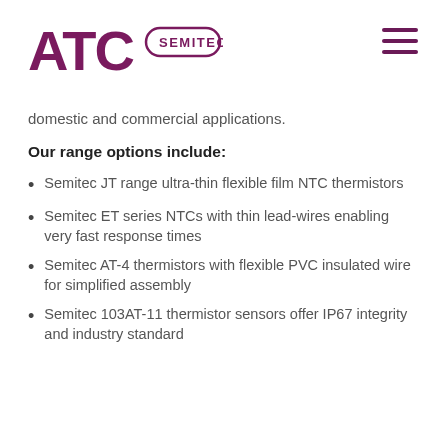[Figure (logo): ATC Semitec logo — purple/maroon 'ATC' wordmark with 'SEMITEC' in a rounded rectangle border]
domestic and commercial applications.
Our range options include:
Semitec JT range ultra-thin flexible film NTC thermistors
Semitec ET series NTCs with thin lead-wires enabling very fast response times
Semitec AT-4 thermistors with flexible PVC insulated wire for simplified assembly
Semitec 103AT-11 thermistor sensors offer IP67 integrity and industry standard